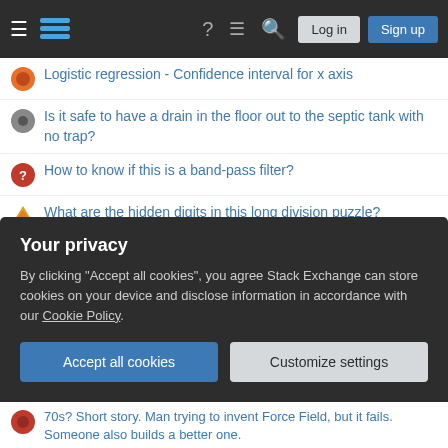Stack Exchange navigation bar with Log in and Sign up buttons
Logistic regression - Confidence interval for x axis
Is it safe to have a drain in the floor out to the septic tank with no trap?
How to know if this is a band-pass filter?
What are the hidden digits in this long division puzzle?
Are these good countries to use for travel history when applying to Australia?
Trim_reason = DICTIONARY_SIZE on Clustered ColumnStore index
How should I respond to a review request after a review was declined?
Why does this author claim that buying index funds will decrease index funds returns?
Your privacy
By clicking "Accept all cookies", you agree Stack Exchange can store cookies on your device and disclose information in accordance with our Cookie Policy.
Accept all cookies   Customize settings
70s? Short story. Man trying to invent Force Field, but it fails. Someone also builds a better one.